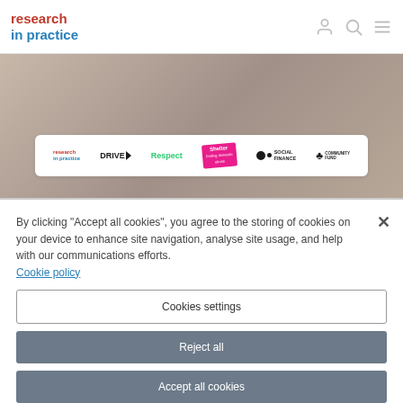[Figure (logo): research in practice logo — 'research' in red bold, 'in practice' in blue bold]
[Figure (illustration): Header icons: person silhouette, magnifying glass, hamburger menu (three lines)]
[Figure (screenshot): Hero image background: blurred warm-toned photo with white partner logos banner showing: research in practice, DRIVE>, Respect, Shelter (pink), Social Finance, Community Fund (National Lottery). Red bar at bottom of hero.]
By clicking “Accept all cookies”, you agree to the storing of cookies on your device to enhance site navigation, analyse site usage, and help with our communications efforts.
Cookie policy
Cookies settings
Reject all
Accept all cookies